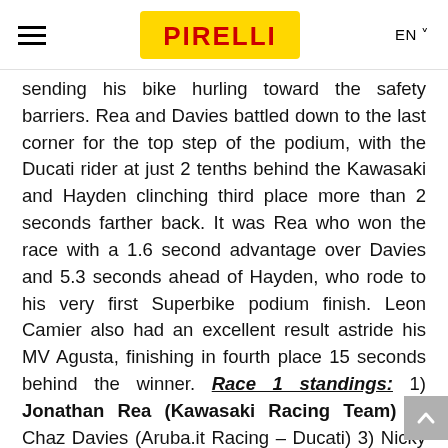≡  PIRELLI  EN
sending his bike hurling toward the safety barriers. Rea and Davies battled down to the last corner for the top step of the podium, with the Ducati rider at just 2 tenths behind the Kawasaki and Hayden clinching third place more than 2 seconds farther back. It was Rea who won the race with a 1.6 second advantage over Davies and 5.3 seconds ahead of Hayden, who rode to his very first Superbike podium finish. Leon Camier also had an excellent result astride his MV Agusta, finishing in fourth place 15 seconds behind the winner. Race 1 standings: 1) Jonathan Rea (Kawasaki Racing Team) 2) Chaz Davies (Aruba.it Racing – Ducati) 3) Nicky Hayden (Honda World Superbike Team) 4) Leon Camier (MV Agusta Reparto Corse) 5) Jordi Torres (Althea BMW Racing Team) 6) Lorenzo Savadori (Ioda Racing...